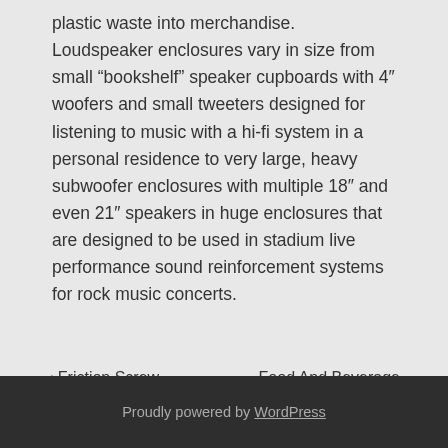plastic waste into merchandise. Loudspeaker enclosures vary in size from small “bookshelf” speaker cupboards with 4″ woofers and small tweeters designed for listening to music with a hi-fi system in a personal residence to very large, heavy subwoofer enclosures with multiple 18″ and even 21″ speakers in huge enclosures that are designed to be used in stadium live performance sound reinforcement systems for rock music concerts.
‹ Friction Screw Press At Greatest Value
Food And Beverage Wastewater Treatment manufacturer ›
Proudly powered by WordPress